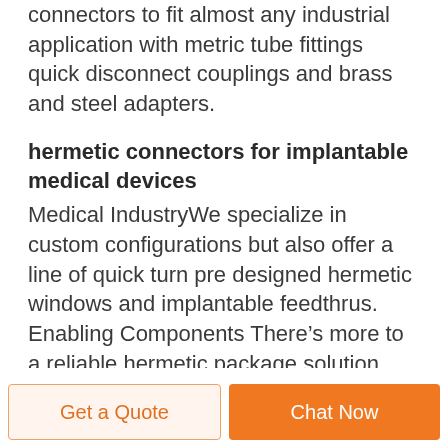connectors to fit almost any industrial application with metric tube fittings quick disconnect couplings and brass and steel adapters.
hermetic connectors for implantable medical devices
Medical IndustryWe specialize in custom configurations but also offer a line of quick turn pre designed hermetic windows and implantable feedthrus. Enabling Components There’s more to a reliable hermetic package solution than just a connector